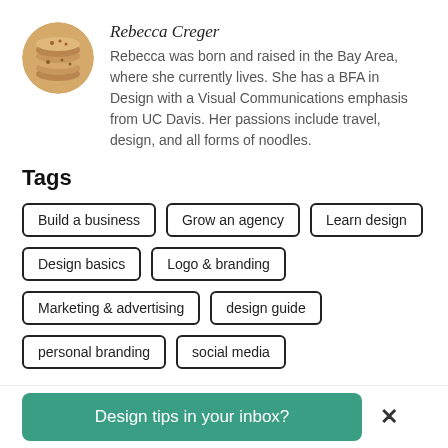[Figure (photo): Circular avatar photo of stacked cookies/biscuits]
Rebecca Creger
Rebecca was born and raised in the Bay Area, where she currently lives. She has a BFA in Design with a Visual Communications emphasis from UC Davis. Her passions include travel, design, and all forms of noodles.
Tags
Build a business
Grow an agency
Learn design
Design basics
Logo & branding
Marketing & advertising
design guide
personal branding
social media
Design tips in your inbox?